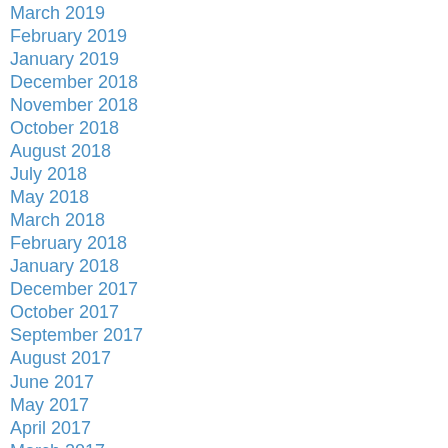March 2019
February 2019
January 2019
December 2018
November 2018
October 2018
August 2018
July 2018
May 2018
March 2018
February 2018
January 2018
December 2017
October 2017
September 2017
August 2017
June 2017
May 2017
April 2017
March 2017
February 2017